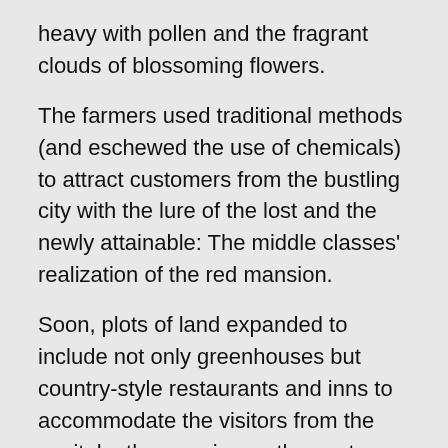heavy with pollen and the fragrant clouds of blossoming flowers.
The farmers used traditional methods (and eschewed the use of chemicals) to attract customers from the bustling city with the lure of the lost and the newly attainable: The middle classes' realization of the red mansion.
Soon, plots of land expanded to include not only greenhouses but country-style restaurants and inns to accommodate the visitors from the capital, other provinces, the eastern seaboard, and eventually from Hong Kong, Taiwan, and even Japan and Korea.
Local governments had central mandates to facilitate any bank loans necessary to support this development, which also replaced the income slashed